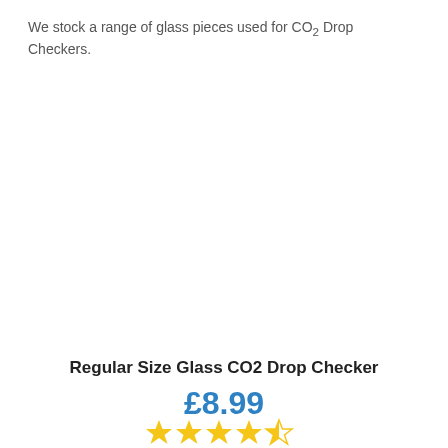We stock a range of glass pieces used for CO2 Drop Checkers.
[Figure (photo): Product image area for Regular Size Glass CO2 Drop Checker (image not loaded/blank)]
Regular Size Glass CO2 Drop Checker
£8.99
[Figure (other): Star rating: approximately 4 out of 5 stars (4 filled yellow stars, 1 partial/empty star)]